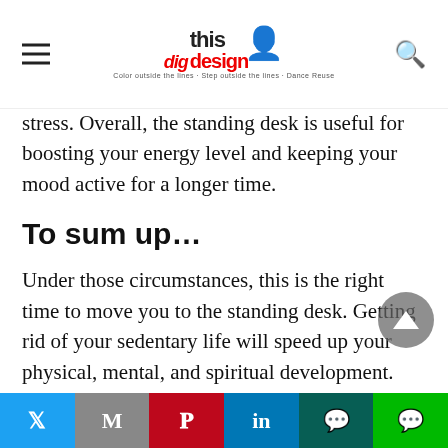dig this design
stress. Overall, the standing desk is useful for boosting your energy level and keeping your mood active for a longer time.
To sum up…
Under those circumstances, this is the right time to move you to the standing desk. Getting rid of your sedentary life will speed up your physical, mental, and spiritual development. Your body will quickly recover from back pain and other health problems, as well as it will lead the way to improved health under the new rules. Hope you understand how
Twitter | Gmail | Pinterest | LinkedIn | WhatsApp | Line